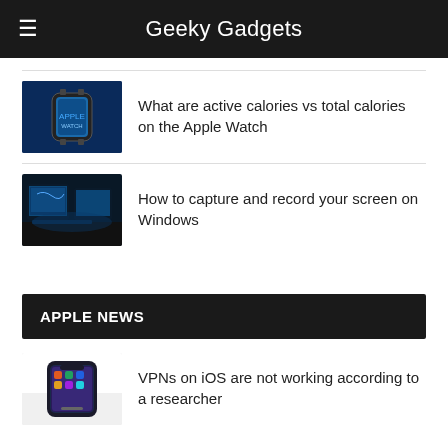Geeky Gadgets
[Figure (photo): Apple Watch on a wrist with blue digital display background]
What are active calories vs total calories on the Apple Watch
[Figure (photo): Gaming PC setup with blue-lit monitors]
How to capture and record your screen on Windows
APPLE NEWS
[Figure (photo): iPhone on a light background]
VPNs on iOS are not working according to a researcher